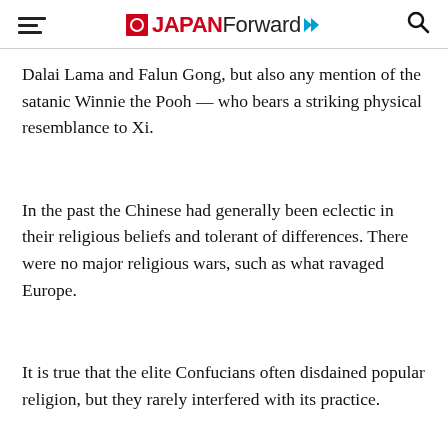JAPAN Forward
Dalai Lama and Falun Gong, but also any mention of the satanic Winnie the Pooh — who bears a striking physical resemblance to Xi.
In the past the Chinese had generally been eclectic in their religious beliefs and tolerant of differences. There were no major religious wars, such as what ravaged Europe.
It is true that the elite Confucians often disdained popular religion, but they rarely interfered with its practice.